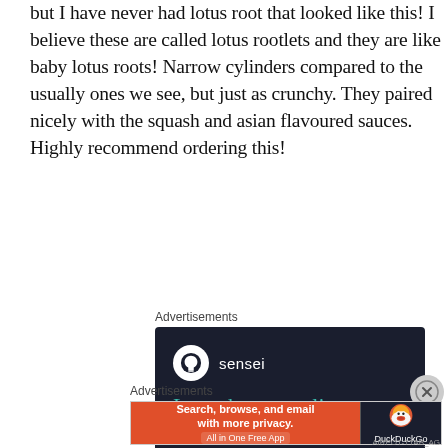but I have never had lotus root that looked like this! I believe these are called lotus rootlets and they are like baby lotus roots! Narrow cylinders compared to the usually ones we see, but just as crunchy. They paired nicely with the squash and asian flavoured sauces. Highly recommend ordering this!
Advertisements
[Figure (screenshot): Sensei advertisement: dark navy background with Sensei logo (tree icon in white circle), brand name 'sensei', headline 'Launch your online course with WordPress' in teal, and a teal 'Learn More' button]
[Figure (illustration): Close/dismiss button (X in circle)]
Advertisements
[Figure (screenshot): DuckDuckGo advertisement: orange-red left panel with text 'Search, browse, and email with more privacy. All in One Free App', dark right panel with DuckDuckGo logo and brand name]